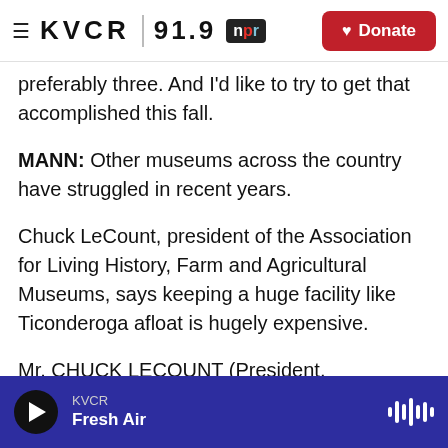KVCR 91.9 NPR | Donate
preferably three. And I'd like to try to get that accomplished this fall.
MANN: Other museums across the country have struggled in recent years.
Chuck LeCount, president of the Association for Living History, Farm and Agricultural Museums, says keeping a huge facility like Ticonderoga afloat is hugely expensive.
Mr. CHUCK LECOUNT (President, Association for Living History, Farm and Agricultural Museums): Maintaining the buildings is a big challenge, as well
KVCR | Fresh Air